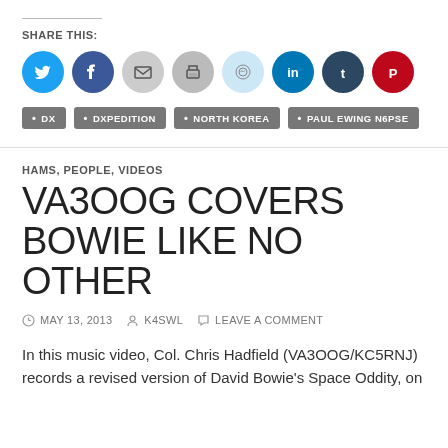SHARE THIS:
[Figure (infographic): Social media share icons: Twitter (blue), Facebook (dark blue), Email (gray), Print (gray), Reddit (light blue), LinkedIn (teal), Tumblr (dark navy), Pinterest (red)]
DX
DXPEDITION
NORTH KOREA
PAUL EWING N6PSE
HAMS, PEOPLE, VIDEOS
VA3OOG COVERS BOWIE LIKE NO OTHER
MAY 13, 2013  K4SWL  LEAVE A COMMENT
In this music video, Col. Chris Hadfield (VA3OOG/KC5RNJ) records a revised version of David Bowie's Space Oddity, on